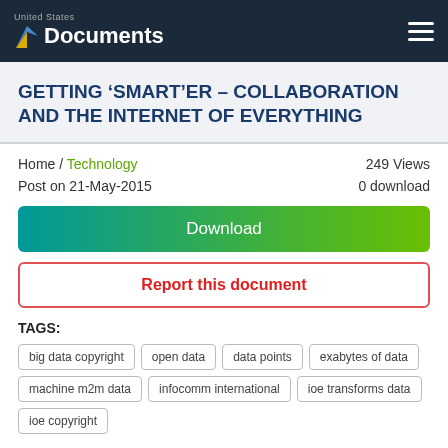United States Documents
GETTING ‘SMART’ER – COLLABORATION AND THE INTERNET OF EVERYTHING
Home / Technology   249 Views
Post on 21-May-2015   0 download
Download
Report this document
TAGS:
big data copyright
open data
data points
exabytes of data
machine m2m data
infocomm international
ioe transforms data
ioe copyright
SHARE